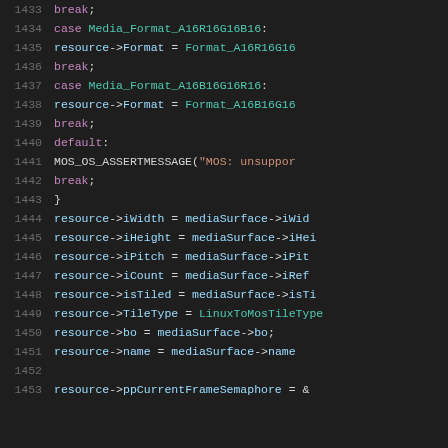Code listing lines 1433-1453, source code in C/C++ style with syntax highlighting showing switch-case statements and resource assignments